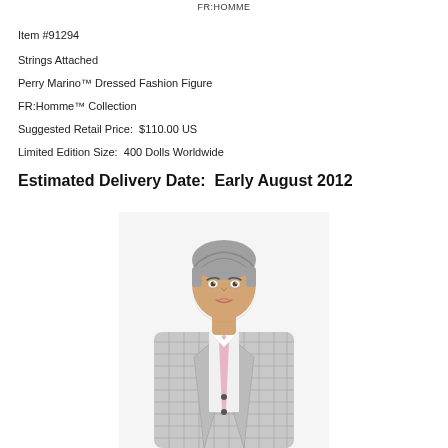FR:HOMME
Item #91294
Strings Attached
Perry Marino™ Dressed Fashion Figure
FR:Homme™ Collection
Suggested Retail Price:  $110.00 US
Limited Edition Size:  400 Dolls Worldwide
Estimated Delivery Date:  Early August 2012
[Figure (photo): Perry Marino dressed fashion figure doll wearing a grey plaid suit with pink tie and white shirt, grey hair styled back, standing pose cropped at waist.]